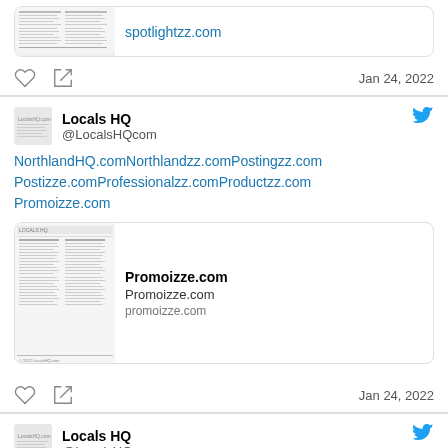[Figure (screenshot): Top partial tweet showing a link card with thumbnail and spotlightzz.com URL]
Jan 24, 2022
Locals HQ @LocalsHQcom
NorthlandHQ.comNorthlandzz.comPostingzz.com Postizze.comProfessionalzz.comProductzz.com Promoizze.com
[Figure (screenshot): Link card for Promoizze.com with thumbnail document image, title Promoizze.com, description Promoizze.com, URL promoizze.com]
Jan 24, 2022
Locals HQ @LocalsHQcom
LocalzzHQ.comInformizze.comNationAdvertised.com NationFeatured.comNationPromoted.com Northland101.comNorthlandFeatured.com